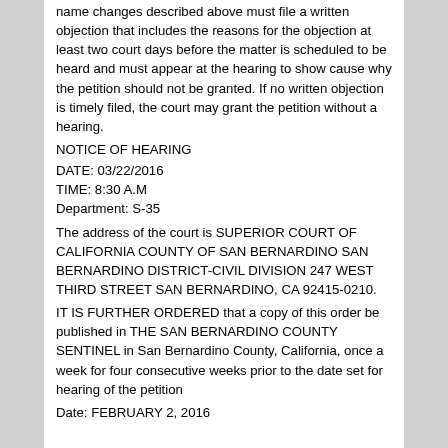name changes described above must file a written objection that includes the reasons for the objection at least two court days before the matter is scheduled to be heard and must appear at the hearing to show cause why the petition should not be granted. If no written objection is timely filed, the court may grant the petition without a hearing.
NOTICE OF HEARING
DATE: 03/22/2016
TIME: 8:30 A.M
Department: S-35
The address of the court is SUPERIOR COURT OF CALIFORNIA COUNTY OF SAN BERNARDINO SAN BERNARDINO DISTRICT-CIVIL DIVISION 247 WEST THIRD STREET SAN BERNARDINO, CA 92415-0210.
IT IS FURTHER ORDERED that a copy of this order be published in THE SAN BERNARDINO COUNTY SENTINEL in San Bernardino County, California, once a week for four consecutive weeks prior to the date set for hearing of the petition
Date: FEBRUARY 2, 2016